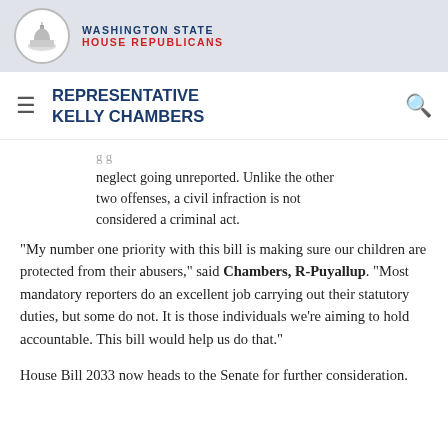WASHINGTON STATE HOUSE REPUBLICANS
REPRESENTATIVE KELLY CHAMBERS
neglect going unreported. Unlike the other two offenses, a civil infraction is not considered a criminal act.
“My number one priority with this bill is making sure our children are protected from their abusers,” said Chambers, R-Puyallup. “Most mandatory reporters do an excellent job carrying out their statutory duties, but some do not. It is those individuals we’re aiming to hold accountable. This bill would help us do that.”
House Bill 2033 now heads to the Senate for further consideration.